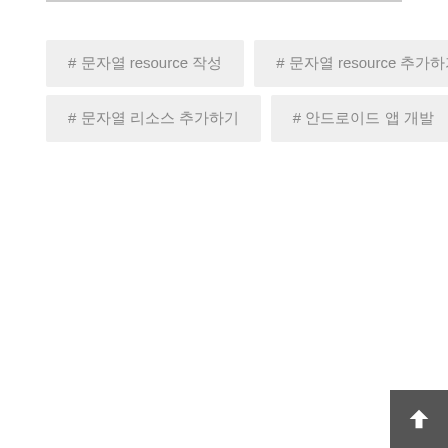# 문자열 resource 작성
# 문자열 resource 추가하기
# 문자열 리소스 추가하기
# 안드로이드 앱 개발